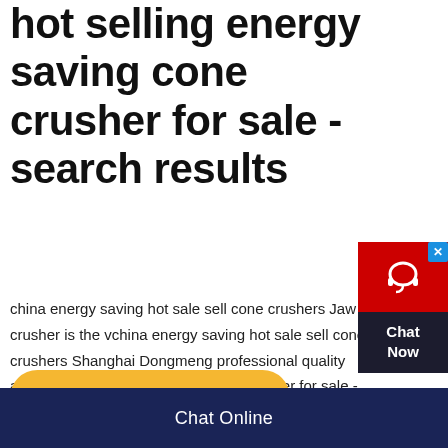hot selling energy saving cone crusher for sale - search results
china energy saving hot sale sell cone crushers Jaw crusher is the vchina energy saving hot sale sell cone crushers Shanghai Dongmeng professional quality and hot selling energy saving cone crusher for sale - search…
[Figure (other): Yellow rounded rectangle button labeled 'Inquiry']
[Figure (other): Chat Now widget with red background, headset icon, dark box, and blue X close button]
Chat Online